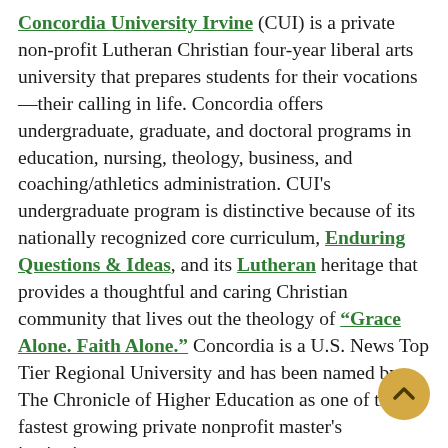Concordia University Irvine (CUI) is a private non-profit Lutheran Christian four-year liberal arts university that prepares students for their vocations—their calling in life. Concordia offers undergraduate, graduate, and doctoral programs in education, nursing, theology, business, and coaching/athletics administration. CUI's undergraduate program is distinctive because of its nationally recognized core curriculum, Enduring Questions & Ideas, and its Lutheran heritage that provides a thoughtful and caring Christian community that lives out the theology of "Grace Alone. Faith Alone." Concordia is a U.S. News Top Tier Regional University and has been named by The Chronicle of Higher Education as one of the fastest growing private nonprofit master's institutions.